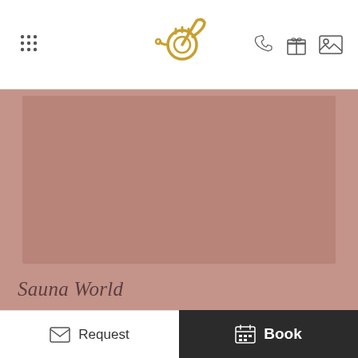[Header with grid menu icon, French horn logo, phone/gift/image icons]
[Figure (photo): Large mauve/dusty rose colored rectangular image placeholder with rounded appearance, sauna world hero image]
Sauna World
A welcoming warmth greets you in our sauna world with everything to make your heart leap for joy: with our Stone steam bath, bio sauna, outdoor sauna and an infrared cabin you can be
Request | Book